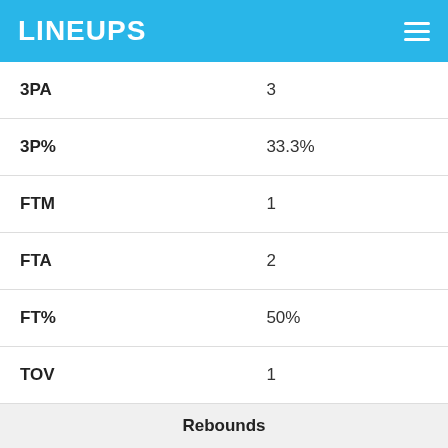LINEUPS
| Stat | Value |
| --- | --- |
| 3PA | 3 |
| 3P% | 33.3% |
| FTM | 1 |
| FTA | 2 |
| FT% | 50% |
| TOV | 1 |
| Rebounds |  |
| TRB | 2 |
| ORB | 0 |
| DRB | 2 |
| Defense |  |
| STL | 3 |
| BLK | 0 |